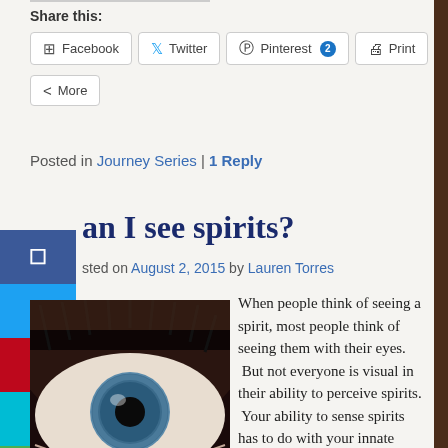Share this:
Facebook  Twitter  Pinterest 2  Print  More
Posted in Journey Series | 1 Reply
an I see spirits?
sted on August 2, 2015 by Lauren Torres
[Figure (photo): Close-up photo of a human eye with blue iris]
When people think of seeing a spirit, most people think of seeing them with their eyes.  But not everyone is visual in their ability to perceive spirits.  Your ability to sense spirits has to do with your innate